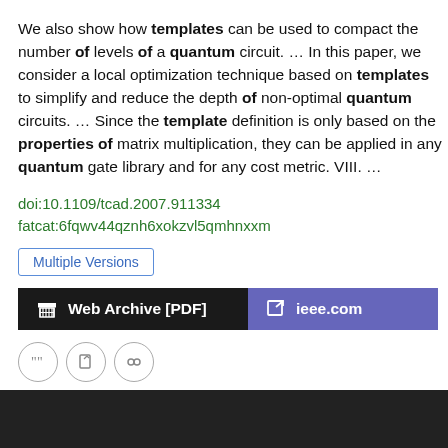We also show how templates can be used to compact the number of levels of a quantum circuit.  …  In this paper, we consider a local optimization technique based on templates to simplify and reduce the depth of non-optimal quantum circuits.  …  Since the template definition is only based on the properties of matrix multiplication, they can be applied in any quantum gate library and for any cost metric. VIII.  …
doi:10.1109/tcad.2007.911334
fatcat:6fqwv44qznh6xokzvl5qmhnxxm
Multiple Versions
Web Archive [PDF]    ieee.com
« Previous    Showing results 1 — 15 out of 48,950 results    Next »